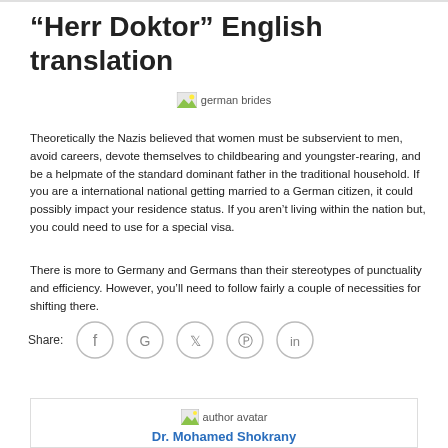“Herr Doktor” English translation
[Figure (illustration): Small thumbnail image placeholder labeled 'german brides']
Theoretically the Nazis believed that women must be subservient to men, avoid careers, devote themselves to childbearing and youngster-rearing, and be a helpmate of the standard dominant father in the traditional household. If you are a international national getting married to a German citizen, it could possibly impact your residence status. If you aren’t living within the nation but, you could need to use for a special visa.
There is more to Germany and Germans than their stereotypes of punctuality and efficiency. However, you’ll need to follow fairly a couple of necessities for shifting there.
Share:
[Figure (illustration): Author avatar image placeholder]
Dr. Mohamed Shokrany